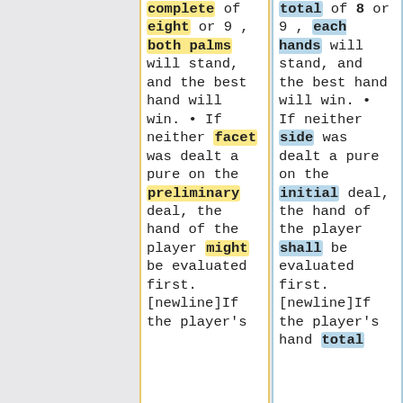complete of eight or 9 , both palms will stand, and the best hand will win. • If neither facet was dealt a pure on the preliminary deal, the hand of the player might be evaluated first. [newline]If the player's
total of 8 or 9 , each hands will stand, and the best hand will win. • If neither side was dealt a pure on the initial deal, the hand of the player shall be evaluated first. [newline]If the player's hand total